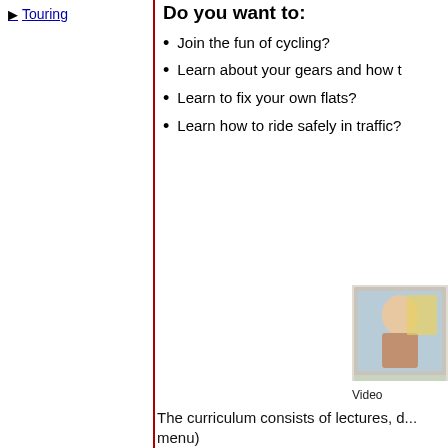Touring
Do you want to:
Join the fun of cycling?
Learn about your gears and how t
Learn to fix your own flats?
Learn how to ride safely in traffic?
[Figure (photo): A person photographed through a window with pink flowers visible in the foreground]
Video
The curriculum consists of lectures, d... menu)